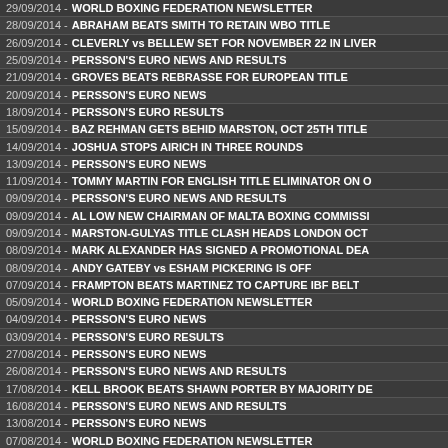29/09/2014 - WORLD BOXING FEDERATION NEWSLETTER
28/09/2014 - ABRAHAM BEATS SMITH TO RETAIN WBO TITLE
26/09/2014 - CLEVERLY vs BELLEW SET FOR NOVEMBER 22 IN LIVERPOOL
25/09/2014 - PERSSON'S EURO NEWS AND RESULTS
21/09/2014 - GROVES BEATS REBRASSE FOR EUROPEAN TITLE
20/09/2014 - PERSSON'S EURO NEWS
18/09/2014 - PERSSON'S EURO RESULTS
15/09/2014 - BAZ REHMAN GETS BEHID MARSTON, OCT 25TH TITLE
14/09/2014 - JOSHUA STOPS AIRICH IN THREE ROUNDS
13/09/2014 - PERSSON'S EURO NEWS
11/09/2014 - TOMMY MARTIN FOR ENGLISH TITLE ELIMINATOR ON OCT
09/09/2014 - PERSSON'S EURO NEWS AND RESULTS
09/09/2014 - AL LOW NEW CHAIRMAN OF MALTA BOXING COMMISSION
09/09/2014 - MARSTON-GULYAS TITLE CLASH HEADS LONDON OCT
08/09/2014 - MARK ALEXANDER HAS SIGNED A PROMOTIONAL DEAL
08/09/2014 - ANDY GATEBY vs ESHAM PICKERING IS OFF
07/09/2014 - FRAMPTON BEATS MARTINEZ TO CAPTURE IBF BELT
05/09/2014 - WORLD BOXING FEDERATION NEWSLETTER
04/09/2014 - PERSSON'S EURO NEWS
03/09/2014 - PERSSON'S EURO RESULTS
27/08/2014 - PERSSON'S EURO NEWS
26/08/2014 - PERSSON'S EURO NEWS AND RESULTS
17/08/2014 - KELL BROOK BEATS SHAWN PORTER BY MAJORITY DECISION
16/08/2014 - PERSSON'S EURO NEWS AND RESULTS
13/08/2014 - PERSSON'S EURO NEWS
07/08/2014 - WORLD BOXING FEDERATION NEWSLETTER